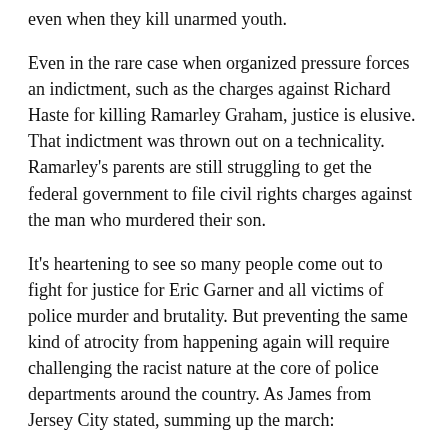even when they kill unarmed youth.
Even in the rare case when organized pressure forces an indictment, such as the charges against Richard Haste for killing Ramarley Graham, justice is elusive. That indictment was thrown out on a technicality. Ramarley's parents are still struggling to get the federal government to file civil rights charges against the man who murdered their son.
It's heartening to see so many people come out to fight for justice for Eric Garner and all victims of police murder and brutality. But preventing the same kind of atrocity from happening again will require challenging the racist nature at the core of police departments around the country. As James from Jersey City stated, summing up the march:
We're out here to protest the senseless killing of people, whether it be Black, white or any color. It's injustice. You can't put a price on life. It